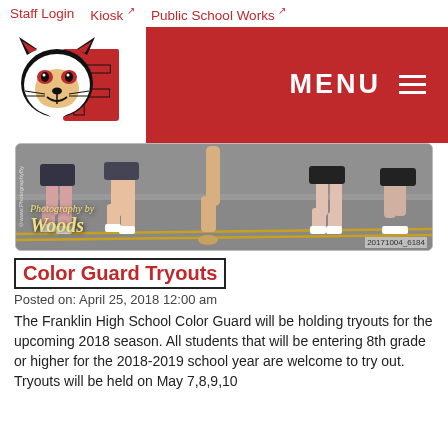Staff Login   Kiosk↗   Public School Works↗
[Figure (logo): Franklin High School wildcat mascot logo with red F letter]
[Figure (photo): Color guard/marching band legs walking on pavement, watermarked 'Photography by Woods', image ID 20171004_6184]
Color Guard Tryouts
Posted on: April 25, 2018 12:00 am
The Franklin High School Color Guard will be holding tryouts for the upcoming 2018 season.  All students that will be entering 8th grade or higher for the 2018-2019 school year are welcome to try out.   Tryouts will be held on May 7,8,9,10